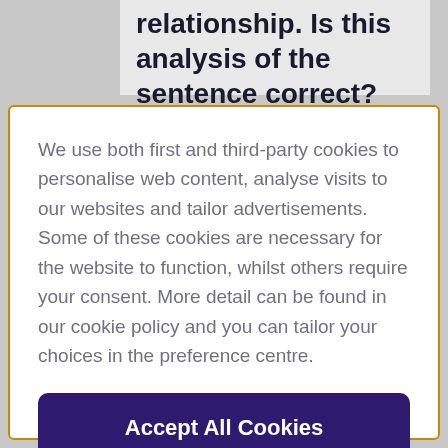relationship. Is this analysis of the sentence correct?
We use both first and third-party cookies to personalise web content, analyse visits to our websites and tailor advertisements. Some of these cookies are necessary for the website to function, whilst others require your consent. More detail can be found in our cookie policy and you can tailor your choices in the preference centre.
Accept All Cookies
Cookies Settings